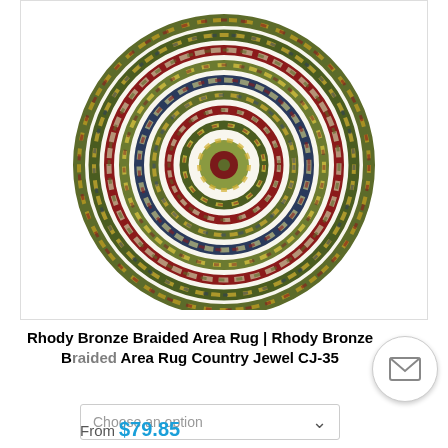[Figure (photo): Oval braided area rug in bronze/multicolor jewel tones — concentric oval braided rings in shades of olive green, red, gold, navy, and cream on white background]
Rhody Bronze Braided Area Rug | Rhody Bronze Braided Area Rug Country Jewel CJ-35
Choose an option
From $79.85